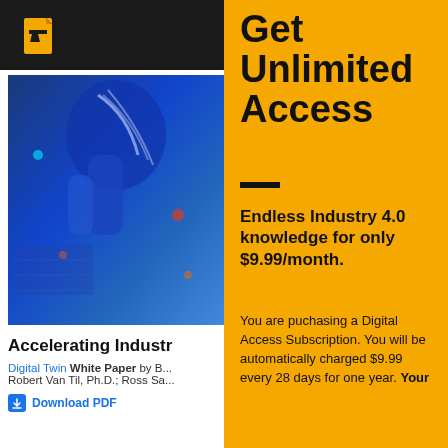[Figure (logo): Automation Alley logo — stylized letter A in yellow on black background]
[Figure (photo): A blue robotic arm/humanoid robot interacting with a digital interface overlay, futuristic industrial setting]
Accelerating Industr
Digital Twin White Paper by B... Robert Van Til, Ph.D.; Ross Sa...
Download PDF
Get Unlimited Access
Endless Industry 4.0 knowledge for only $9.99/month.
You are puchasing a Digital Access Subscription. You will be automatically charged $9.99 every 28 days for one year. Your